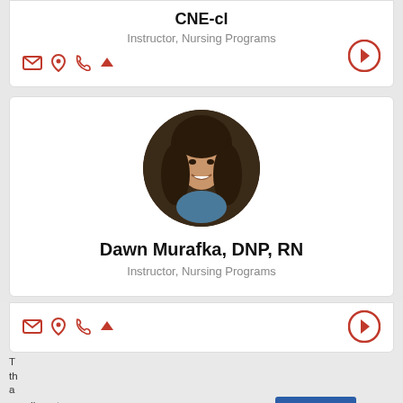CNE-cl
Instructor, Nursing Programs
[Figure (other): Icon row with mail, location, phone, and up-arrow icons in red, plus a red circle arrow button]
[Figure (photo): Circular portrait photo of Dawn Murafka, a woman with dark shoulder-length hair, smiling]
Dawn Murafka, DNP, RN
Instructor, Nursing Programs
[Figure (other): Icon row with mail, location, phone, and up-arrow icons in red, plus a red circle arrow button]
Learn more about our Privacy Policy.